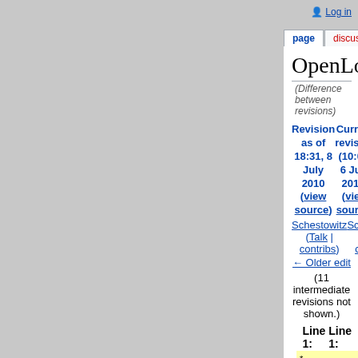Log in
page | discussion | view source | history
OpenLogic
(Difference between revisions)
| Revision as of 18:31, 8 July 2010 (view source) | Current revision (10:04, 6 July 2013) (view source) |
| --- | --- |
| Schestowitz (Talk | contribs) | Schestowitz (Talk | contribs) |
| ← Older edit |  |
| (11 intermediate revisions not shown.) |  |
Line 1:
- * [http://techrights.org/2010/07/02/gpl-scare-as-press-release/ FUD Watch: OpenLogic Survey Shows Enterprises Should be Afraid of GPL]
+ [[Image:Tech-wrongs.png|right|border]]
OpenLogic is the firm